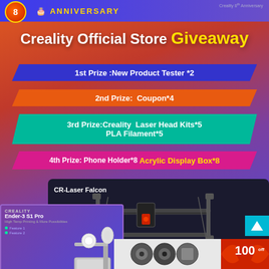8th ANNIVERSARY
Creality Official Store Giveaway
1st Prize :New Product Tester *2
2nd Prize:  Coupon*4
3rd Prize:Creality  Laser Head Kits*5 PLA Filament*5
4th Prize: Phone Holder*8  Acrylic Display Box*8
[Figure (photo): CR-Laser Falcon laser engraver machine shown from above on dark background]
[Figure (photo): Creality Ender-3 S1 Pro 3D printer on gradient purple background]
[Figure (photo): Product images on light gray background]
[Figure (infographic): Red discount banner with 100 off text and decorative arrows]